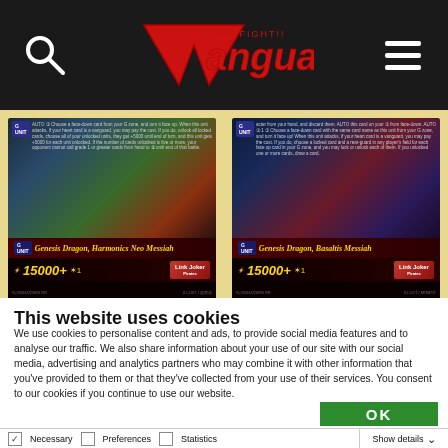Vanguard website navigation header with search icon and menu icon
[Figure (screenshot): Two trading card game cards displayed side by side. Left card: Genesis Dragon, Harmonics Neo Messiah, 15000+, Link Joker, x1 quantity. Right card: Genesis Dragon, Basaltis Messiah, 15000+, Link Joker, x4 quantity.]
[Figure (screenshot): Two partially visible card images at the bottom of the cards section, each showing grade 4 cards with colorful artwork.]
This website uses cookies
We use cookies to personalise content and ads, to provide social media features and to analyse our traffic. We also share information about your use of our site with our social media, advertising and analytics partners who may combine it with other information that you've provided to them or that they've collected from your use of their services. You consent to our cookies if you continue to use our website.